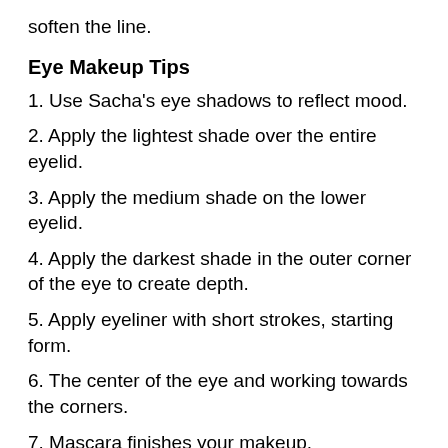soften the line.
Eye Makeup Tips
1. Use Sacha's eye shadows to reflect mood.
2. Apply the lightest shade over the entire eyelid.
3. Apply the medium shade on the lower eyelid.
4. Apply the darkest shade in the outer corner of the eye to create depth.
5. Apply eyeliner with short strokes, starting form.
6. The center of the eye and working towards the corners.
7. Mascara finishes your makeup.
8. Do not wear bold eye makeup and a bold lipstick